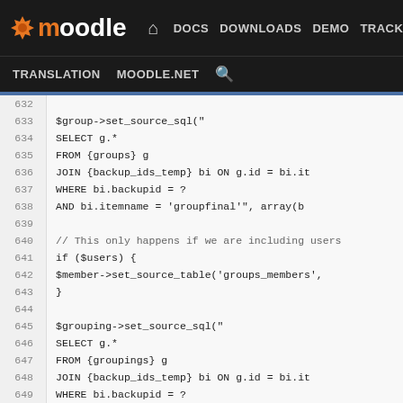moodle | DOCS  DOWNLOADS  DEMO  TRACKER  DEV | TRANSLATION  MOODLE.NET
[Figure (screenshot): Moodle developer site navigation bar with logo, nav links (DOCS, DOWNLOADS, DEMO, TRACKER, DEV highlighted in blue), and secondary nav (TRANSLATION, MOODLE.NET, search icon)]
Code viewer showing lines 632-658 of PHP backup code including $group->set_source_sql(), SQL SELECT queries, $grouping->set_source_sql(), $groupinggroup->set_source_table(), $member->annotate_ids(), and comments